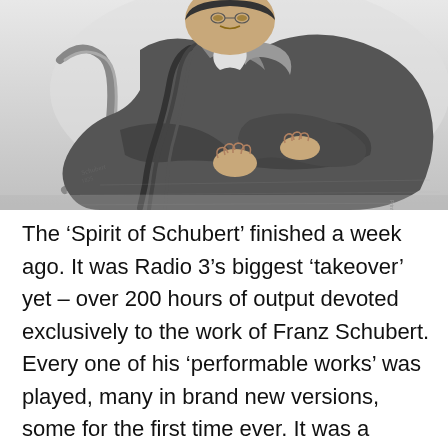[Figure (photo): Black and white engraving/illustration of Franz Schubert, shown from roughly the waist up, sitting with arms crossed/folded, wearing a dark jacket. His long hair is visible and he has a signature visible in the lower left area of the image.]
The 'Spirit of Schubert' finished a week ago. It was Radio 3's biggest 'takeover' yet – over 200 hours of output devoted exclusively to the work of Franz Schubert. Every one of his 'performable works' was played, many in brand new versions, some for the first time ever. It was a remarkable thing – and for a Radio 3 newcomer, very inspiring and energising...